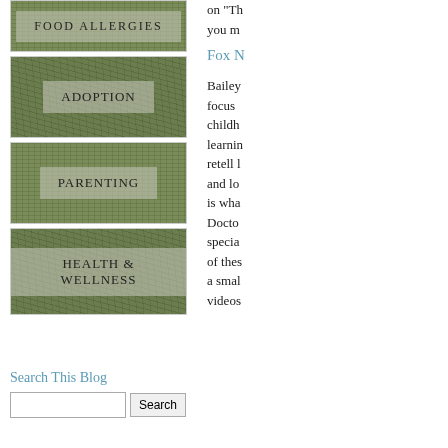[Figure (photo): Grass background tile with label FOOD ALLERGIES (partially visible at top)]
[Figure (photo): Grass background tile with label ADOPTION]
[Figure (photo): Grass background tile with label PARENTING]
[Figure (photo): Grass background tile with label HEALTH & WELLNESS]
Search This Blog
on "Th you m
Fox N
Bailey focus childh learnin retell l and lo is wha Docto specia of thes a smal videos